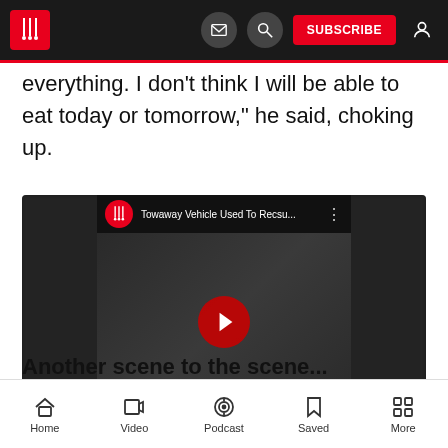Newslaundry app header with logo, mail icon, search icon, SUBSCRIBE button, and user icon
everything. I don't think I will be able to eat today or tomorrow," he said, choking up.
[Figure (screenshot): Embedded YouTube video thumbnail showing 'Towaway Vehicle Used To Recsu...' with Newslaundry logo, play button, and a street scene with people]
Another scene to the scene...
Home | Video | Podcast | Saved | More